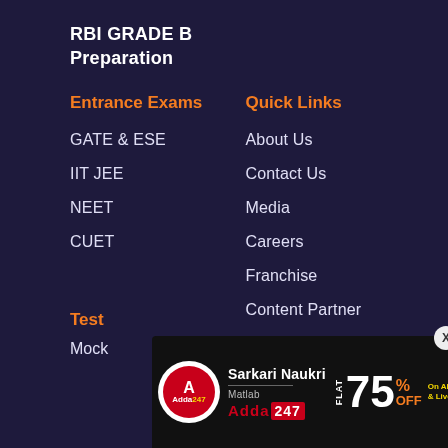RBI GRADE B
Preparation
Entrance Exams
Quick Links
GATE & ESE
IIT JEE
NEET
CUET
About Us
Contact Us
Media
Careers
Franchise
Content Partner
Test
Mock
[Figure (infographic): Adda247 advertisement banner: Sarkari Naukri Matlab Adda247 — Flat 75% OFF on All Mahapacks & Live Classes. Use code JOB75. Buy Now button.]